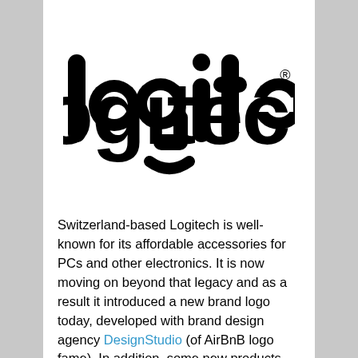[Figure (logo): Logitech wordmark logo in black on white background, bold sans-serif lowercase letters with a small registered trademark symbol after the 'h']
Switzerland-based Logitech is well-known for its affordable accessories for PCs and other electronics. It is now moving on beyond that legacy and as a result it introduced a new brand logo today, developed with brand design agency DesignStudio (of AirBnB logo fame). In addition, some new products will now be marketed under a new "Logi" name, dropping "-tech" in the process